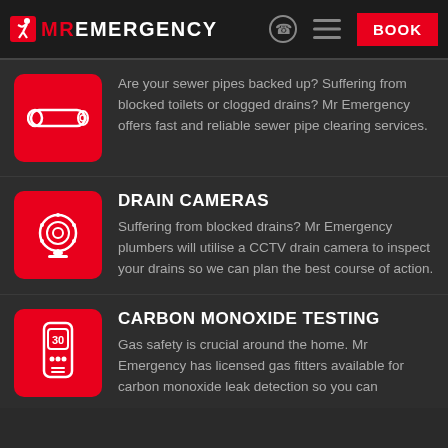MR EMERGENCY  BOOK
Are your sewer pipes backed up? Suffering from blocked toilets or clogged drains? Mr Emergency offers fast and reliable sewer pipe clearing services.
DRAIN CAMERAS
Suffering from blocked drains? Mr Emergency plumbers will utilise a CCTV drain camera to inspect your drains so we can plan the best course of action.
CARBON MONOXIDE TESTING
Gas safety is crucial around the home. Mr Emergency has licensed gas fitters available for carbon monoxide leak detection so you can